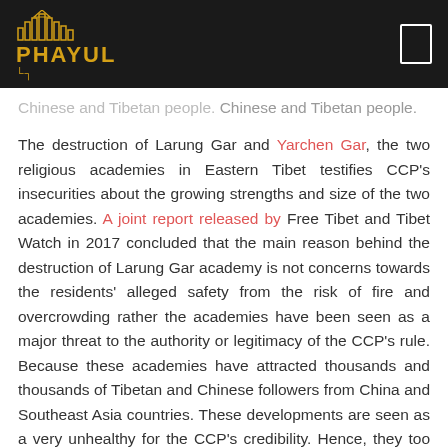PHAYUL
Chinese and Tibetan people.
The destruction of Larung Gar and Yarchen Gar, the two religious academies in Eastern Tibet testifies CCP's insecurities about the growing strengths and size of the two academies. A joint report released by Free Tibet and Tibet Watch in 2017 concluded that the main reason behind the destruction of Larung Gar academy is not concerns towards the residents' alleged safety from the risk of fire and overcrowding rather the academies have been seen as a major threat to the authority or legitimacy of the CCP's rule. Because these academies have attracted thousands and thousands of Tibetan and Chinese followers from China and Southeast Asia countries. These developments are seen as a very unhealthy for the CCP's credibility. Hence, they too needed to be subdued completely.